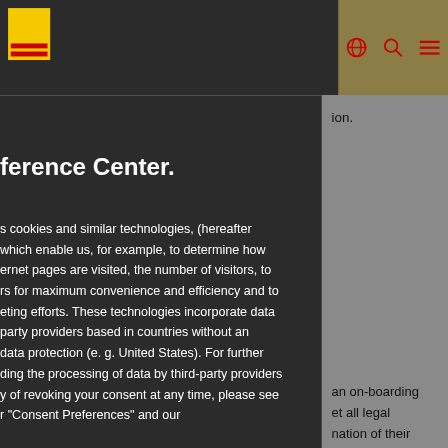Navigation bar with logo and icons
ion.
ference Center.
s cookies and similar technologies, (hereafter which enable us, for example, to determine how ernet pages are visited, the number of visitors, to rs for maximum convenience and efficiency and to eting efforts. These technologies incorporate data party providers based in countries without an data protection (e. g. United States). For further ding the processing of data by third-party providers y of revoking your consent at any time, please see r "Consent Preferences" and our
an on-boarding et all legal nation of their by the host t coordinator.
[Figure (logo): Red square decorative element]
nsent Preferences
elected signs a contract warding